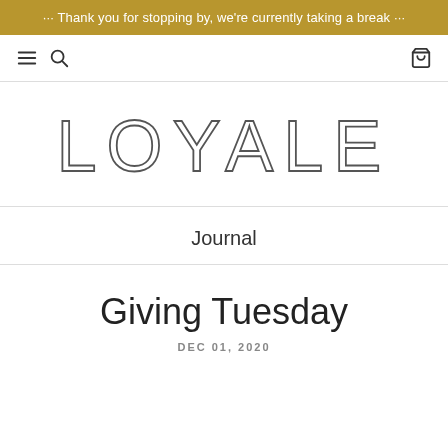··· Thank you for stopping by, we're currently taking a break ···
[Figure (other): Navigation bar with hamburger menu, search icon on the left and shopping cart icon on the right]
LOYALE
Journal
Giving Tuesday
DEC 01, 2020